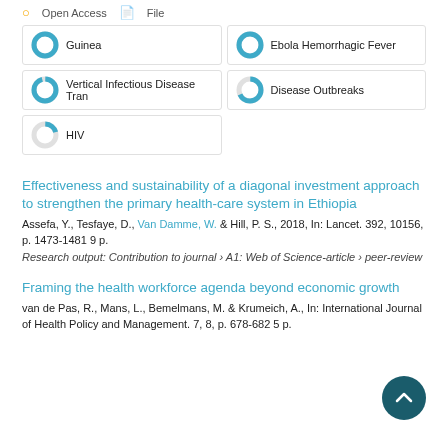Open Access  File
Guinea
Ebola Hemorrhagic Fever
Vertical Infectious Disease Tran
Disease Outbreaks
HIV
Effectiveness and sustainability of a diagonal investment approach to strengthen the primary health-care system in Ethiopia
Assefa, Y., Tesfaye, D., Van Damme, W. & Hill, P. S., 2018, In: Lancet. 392, 10156, p. 1473-1481 9 p.
Research output: Contribution to journal › A1: Web of Science-article › peer-review
Framing the health workforce agenda beyond economic growth
van de Pas, R., Mans, L., Bemelmans, M. & Krumeich, A., In: International Journal of Health Policy and Management. 7, 8, p. 678-682 5 p.